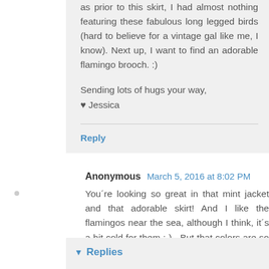as prior to this skirt, I had almost nothing featuring these fabulous long legged birds (hard to believe for a vintage gal like me, I know). Next up, I want to find an adorable flamingo brooch. :)
Sending lots of hugs your way,
♥ Jessica
Reply
Anonymous  March 5, 2016 at 8:02 PM
You´re looking so great in that mint jacket and that adorable skirt! And I like the flamingos near the sea, although I think, it´s a bit cold for them ;-) . But that colors are so cute and remember me on ice cream - and they are fitting to the white snow perfectly! Have a wonderful day, Nessy from the happinessygirls.com
Reply
Replies